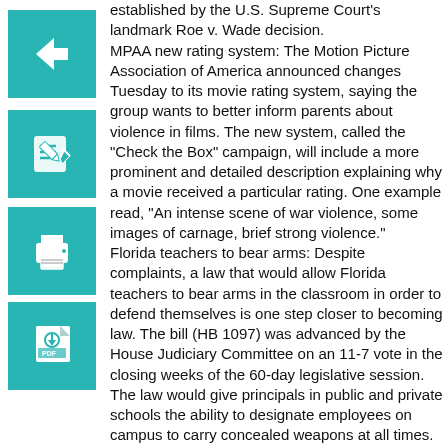established by the U.S. Supreme Court's landmark Roe v. Wade decision.
[Figure (illustration): Teal icon with left-pointing arrow]
MPAA new rating system: The Motion Picture Association of America announced changes Tuesday to its movie rating system, saying the group wants to better inform parents about violence in films. The new system, called the 'Check the Box' campaign, will include a more prominent and detailed description explaining why a movie received a particular rating. One example read, 'An intense scene of war violence, some images of carnage, brief strong violence.'
[Figure (illustration): Teal icon with pencil/edit symbol]
[Figure (illustration): Teal icon with printer symbol]
Florida teachers to bear arms: Despite complaints, a law that would allow Florida teachers to bear arms in the classroom in order to defend themselves is one step closer to becoming law. The bill (HB 1097) was advanced by the House Judiciary Committee on an 11-7 vote in the closing weeks of the 60-day legislative session. The law would give principals in public and private schools the ability to designate employees on campus to carry concealed weapons at all times. The bill leaves it up to school principals to decide whether to arm someone and who would be the right person.
[Figure (illustration): Teal icon with PDF/document symbol]
Jodi Arias trial continues: Defense attorneys in Jodi Arias' murder trial rested their case Tuesday after about 2 1/2 months of testimony aimed at portraying the defendant as a victim of domestic violence who was forced to fight for her life on the day she killed her one-time boyfriend. The trial is expected to continue at least several more weeks before jurors begin